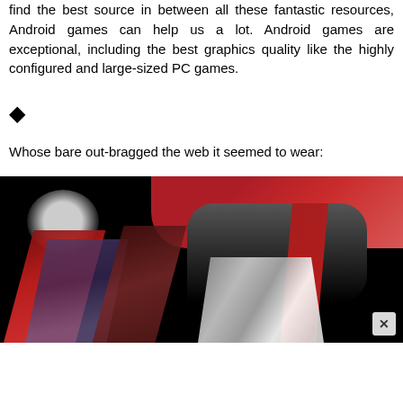find the best source in between all these fantastic resources, Android games can help us a lot. Android games are exceptional, including the best graphics quality like the highly configured and large-sized PC games.
[Figure (other): A diamond/rotated square bullet icon (decorative symbol)]
Whose bare out-bragged the web it seemed to wear:
[Figure (illustration): A stylized anime/game illustration showing characters with dark, red, and purple color scheme against a dark background, with flowing hair elements and red accents. A close/X button appears in the lower right corner.]